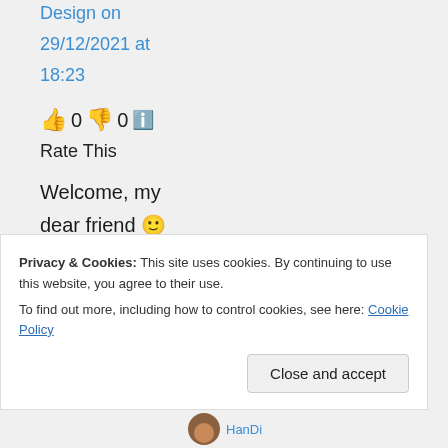Design on 29/12/2021 at 18:23
👍 0 👎 0 ℹ️ Rate This
Welcome, my dear friend 🙂 Hugs and love Didi
Privacy & Cookies: This site uses cookies. By continuing to use this website, you agree to their use. To find out more, including how to control cookies, see here: Cookie Policy
Close and accept